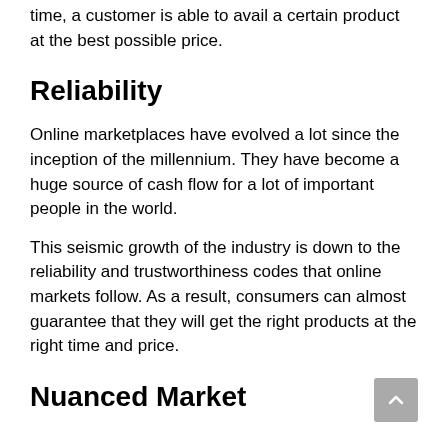time, a customer is able to avail a certain product at the best possible price.
Reliability
Online marketplaces have evolved a lot since the inception of the millennium. They have become a huge source of cash flow for a lot of important people in the world.
This seismic growth of the industry is down to the reliability and trustworthiness codes that online markets follow. As a result, consumers can almost guarantee that they will get the right products at the right time and price.
Nuanced Market